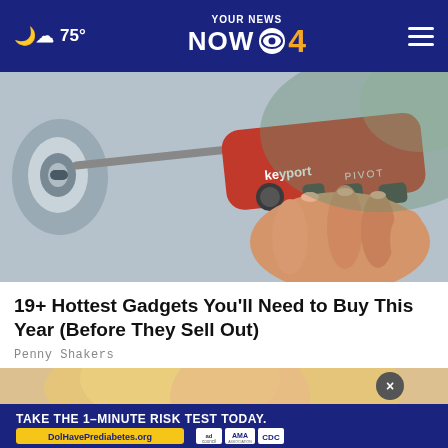75° — YOUR NEWS NOW CBS 4
[Figure (photo): Close-up photo of a hand holding a red Keyport PIVOT multi-tool key organizer, inserting a key into a door lock]
19+ Hottest Gadgets You'll Need to Buy This Year (Before They Sell Out)
Penny Shakers
[Figure (photo): Photo of a woman (partially visible, blonde hair), with a prediabetes risk test advertisement overlay: TAKE THE 1-MINUTE RISK TEST TODAY. DolHavePrediabetes.org — ad council, AMA, CDC logos. An X close button is visible.]